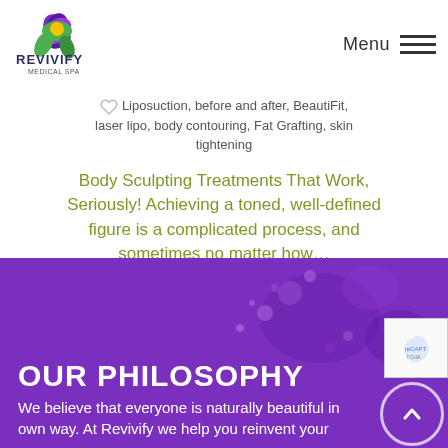Revivify Medical Spa — Menu
Liposuction, before and after, BeautiFit, laser lipo, body contouring, Fat Grafting, skin tightening
Body Sculpting Treatments That Work, Seriously! Achieving a toned, well-defined figure is a complicated process, and sometimes no matter how…
Read More
OUR PHILOSOPHY
We believe that everyone is naturally beautiful in their own way. At Revivify we help you reinvent your